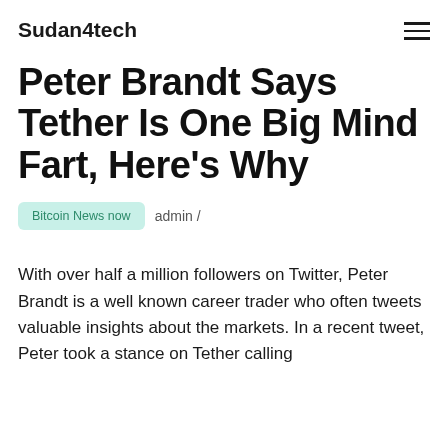Sudan4tech
Peter Brandt Says Tether Is One Big Mind Fart, Here's Why
Bitcoin News now   admin /
With over half a million followers on Twitter, Peter Brandt is a well known career trader who often tweets valuable insights about the markets. In a recent tweet, Peter took a stance on Tether calling